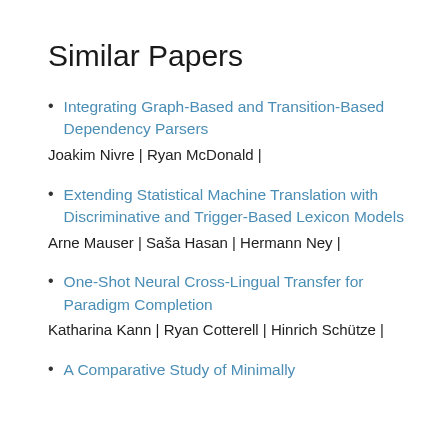Similar Papers
Integrating Graph-Based and Transition-Based Dependency Parsers
Joakim Nivre | Ryan McDonald |
Extending Statistical Machine Translation with Discriminative and Trigger-Based Lexicon Models
Arne Mauser | Saša Hasan | Hermann Ney |
One-Shot Neural Cross-Lingual Transfer for Paradigm Completion
Katharina Kann | Ryan Cotterell | Hinrich Schütze |
A Comparative Study of Minimally...